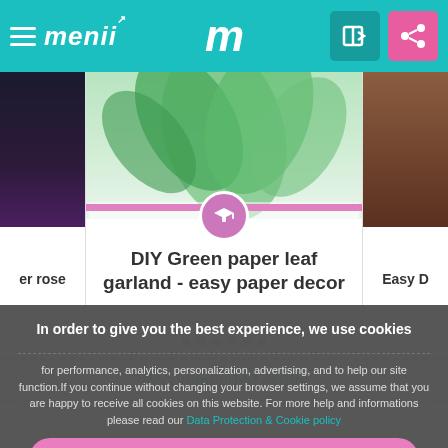menii m
[Figure (screenshot): DIY Green paper leaf garland card with graduation icon, pink bar, and green leaf image background]
DIY Green paper leaf garland - easy paper decor
( by: The House That Lars Built )
Recommended crafts
In order to give you the best experience, we use cookies
for performance, analytics, personalization, advertising, and to help our site function.If you continue without changing your browser settings, we assume that you are happy to receive all cookies on this website. For more help and informations please read our Data Protection & Cookie policy